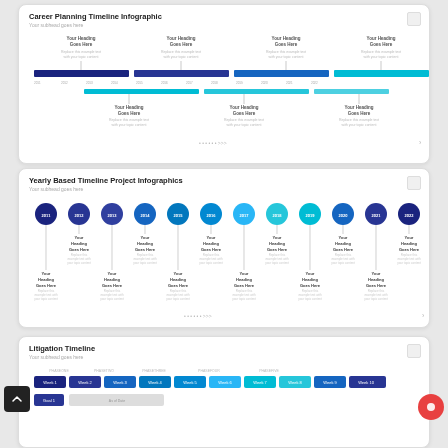[Figure (infographic): Career Planning Timeline Infographic showing a horizontal timeline with 4 heading blocks above and 3 heading blocks below, with colored bars (dark navy, dark blue, medium blue, cyan) and year markers along the timeline.]
[Figure (infographic): Yearly Based Timeline Project Infographics showing a horizontal row of 12 colored circles (gradient from dark navy to dark blue to cyan) representing years 2011-2022, with heading and body text below each, and additional headings below a second timeline row.]
[Figure (infographic): Litigation Timeline infographic showing a horizontal row of 10 phase blocks (Phase 1 through Phase 10) in gradient blue-to-cyan colors, with a row below showing Week 1 and subsequent columns for tasks.]